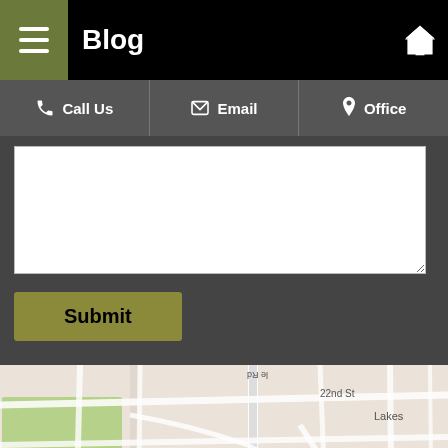Blog
Call Us | Email | Office
[Figure (screenshot): Text area input field for form submission]
Submit
[Figure (map): Google Maps screenshot showing location of The Stogsdill Law Firm, P.C. near Seven Gables Park, with a red map pin marker. Streets visible include S Naperville Rd and Blanchard St. Text label reads: The Stogsdill Law Firm, P.C.]